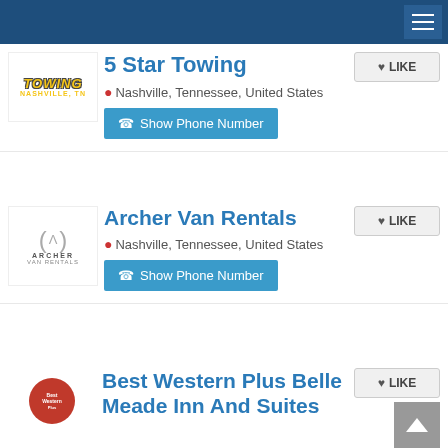5 Star Towing
Nashville, Tennessee, United States
Show Phone Number
Archer Van Rentals
Nashville, Tennessee, United States
Show Phone Number
Best Western Plus Belle Meade Inn And Suites